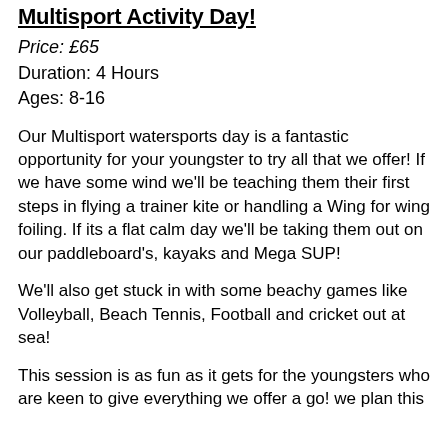Multisport Activity Day!
Price: £65
Duration: 4 Hours
Ages: 8-16
Our Multisport watersports day is a fantastic opportunity for your youngster to try all that we offer! If we have some wind we'll be teaching them their first steps in flying a trainer kite or handling a Wing for wing foiling. If its a flat calm day we'll be taking them out on our paddleboard's, kayaks and Mega SUP!
We'll also get stuck in with some beachy games like Volleyball, Beach Tennis, Football and cricket out at sea!
This session is as fun as it gets for the youngsters who are keen to give everything we offer a go! we plan this